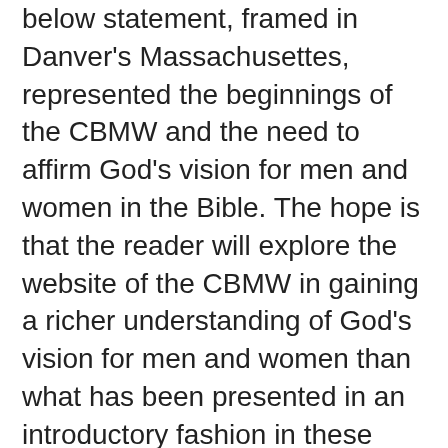below statement, framed in Danver's Massachusettes, represented the beginnings of the CBMW and the need to affirm God's vision for men and women in the Bible. The hope is that the reader will explore the website of the CBMW in gaining a richer understanding of God's vision for men and women than what has been presented in an introductory fashion in these past two weeks on this blogsite. Here is the the link to the CBMW: http://cbmw.org/ . Yesterday we looked at what the